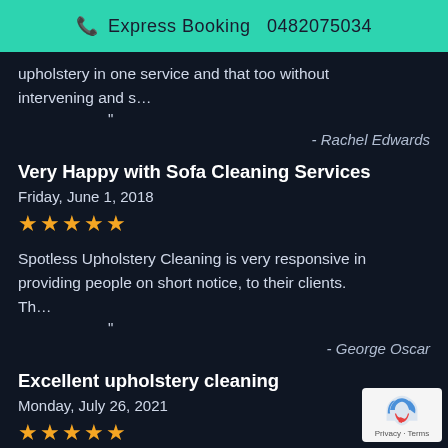Express Booking 📞 0482075034
upholstery in one service and that too without intervening and s…
"
- Rachel Edwards
Very Happy with Sofa Cleaning Services
Friday, June 1, 2018
★★★★★
Spotless Upholstery Cleaning is very responsive in providing people on short notice, to their clients. Th…
"
- George Oscar
Excellent upholstery cleaning
Monday, July 26, 2021
★★★★★